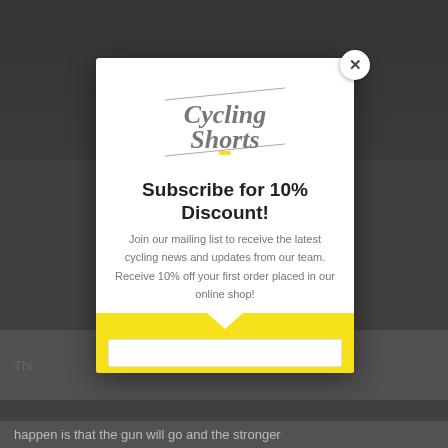[Figure (screenshot): Dark background webpage with a modal popup overlay. The background shows a blurred cycling-related webpage.]
[Figure (logo): Cycling Shorts logo with italic serif text and diagonal lines above and below]
Subscribe for 10% Discount!
Join our mailing list to receive the latest cycling news and updates from our team. Receive 10% off your first order placed in our online shop!